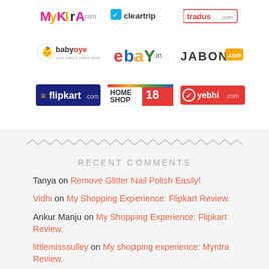[Figure (logo): Grid of e-commerce logos: Myntra, Cleartrip, Tradus.com, Babyoye, eBay.in, Jabong, Flipkart, HomeShop18, Yebhi.com]
RECENT COMMENTS
Tanya on Remove Glitter Nail Polish Easily!
Vidhi on My Shopping Experience: Flipkart Review.
Ankur Manju on My Shopping Experience: Flipkart Review.
littlemisssulley on My shopping experience: Myntra Review.
AIK YIN CHIEN . on My Shopping experience: Born Pretty Store Review.